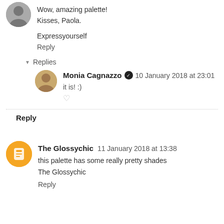Wow, amazing palette!
Kisses, Paola.
Expressyourself
Reply
▾ Replies
Monia Cagnazzo ✔ 10 January 2018 at 23:01
it is! :)
♡
Reply
The Glossychic  11 January 2018 at 13:38
this palette has some really pretty shades
The Glossychic
Reply